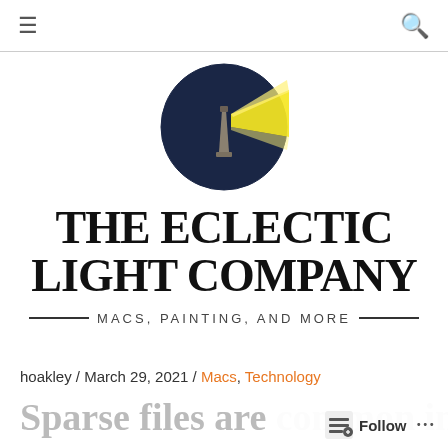≡  🔍
[Figure (logo): Circular dark navy logo with a lighthouse emitting a yellow beam of light to the right]
THE ECLECTIC LIGHT COMPANY
— MACS, PAINTING, AND MORE —
hoakley / March 29, 2021 / Macs, Technology
Sparse file are common in